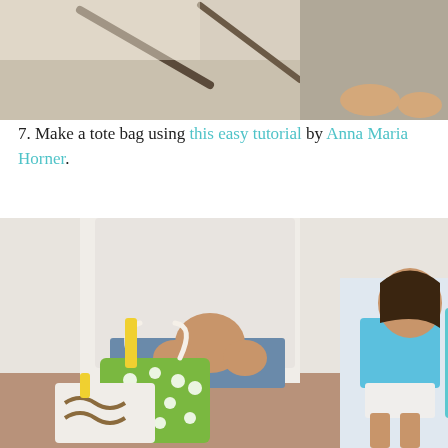[Figure (photo): Top portion of a photo showing a person's feet/legs near a stick or branch outdoors on a sunny surface]
7. Make a tote bag using this easy tutorial by Anna Maria Horner.
[Figure (photo): Photo of a child holding green polka-dot tote bags, with another child sitting in the background reading a colorful book. A Pinterest Save button overlay showing 497 saves is visible in the top right of the photo.]